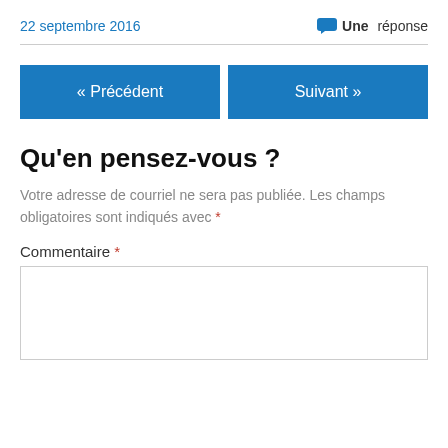22 septembre 2016
Une réponse
« Précédent
Suivant »
Qu'en pensez-vous ?
Votre adresse de courriel ne sera pas publiée. Les champs obligatoires sont indiqués avec *
Commentaire *